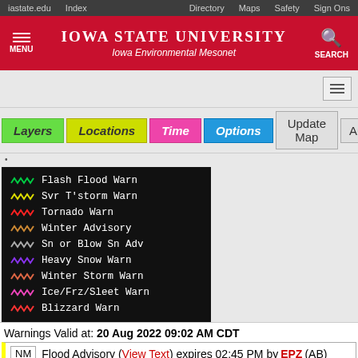iastate.edu   Index   Directory   Maps   Safety   Sign Ons
Iowa State University — Iowa Environmental Mesonet
[Figure (screenshot): Navigation toolbar with Layers, Locations, Time, Options, Update Map, Auto buttons]
[Figure (infographic): Weather warning legend on black background listing: Flash Flood Warn, Svr T'storm Warn, Tornado Warn, Winter Advisory, Sn or Blow Sn Adv, Heavy Snow Warn, Winter Storm Warn, Ice/Frz/Sleet Warn, Blizzard Warn with colored squiggly line icons]
Warnings Valid at: 20 Aug 2022 09:02 AM CDT
NM  Flood Advisory (View Text) expires 02:45 PM by EPZ (AB)
Otero, in NM